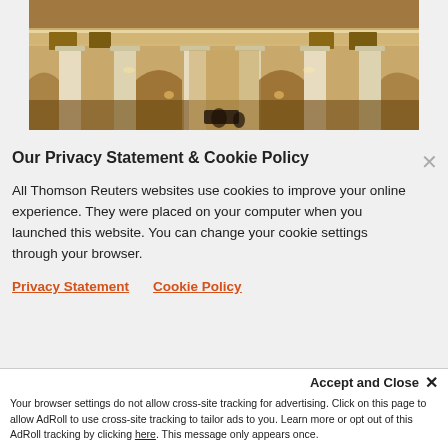[Figure (photo): Interior of a government building rotunda/hall with white columns, balcony railings, arched doorways, ornate ceiling, and people in the background near what appears to be a piano or podium.]
Our Privacy Statement & Cookie Policy
All Thomson Reuters websites use cookies to improve your online experience. They were placed on your computer when you launched this website. You can change your cookie settings through your browser.
Privacy Statement   Cookie Policy
Ok to continue
Accept and Close ✕
Your browser settings do not allow cross-site tracking for advertising. Click on this page to allow AdRoll to use cross-site tracking to tailor ads to you. Learn more or opt out of this AdRoll tracking by clicking here. This message only appears once.